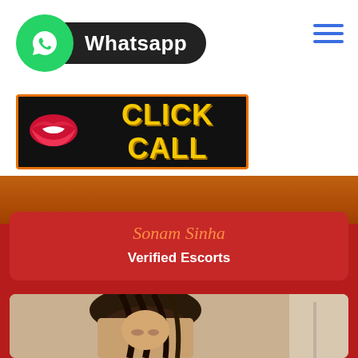[Figure (logo): WhatsApp logo badge with green circle icon and black pill-shaped button with white text 'Whatsapp']
[Figure (logo): Click Call banner with red lips icon on black background with orange border and yellow bold text 'CLICK CALL']
[Figure (photo): Partial photo showing orange/brown tones, person's hand and body visible at top]
Sonam Sinha
Verified Escorts
[Figure (photo): Photo of a young woman with dark hair, looking down, partial view at bottom of page]